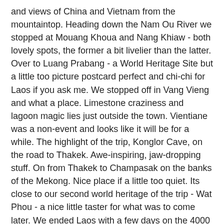and views of China and Vietnam from the mountaintop. Heading down the Nam Ou River we stopped at Mouang Khoua and Nang Khiaw - both lovely spots, the former a bit livelier than the latter. Over to Luang Prabang - a World Heritage Site but a little too picture postcard perfect and chi-chi for Laos if you ask me. We stopped off in Vang Vieng and what a place. Limestone craziness and lagoon magic lies just outside the town. Vientiane was a non-event and looks like it will be for a while. The highlight of the trip, Konglor Cave, on the road to Thakek. Awe-inspiring, jaw-dropping stuff. On from Thakek to Champasak on the banks of the Mekong. Nice place if a little too quiet. Its close to our second world heritage of the trip - Wat Phou - a nice little taster for what was to come later. We ended Laos with a few days on the 4000 Islands where another highlight was the massive Khone Falls - one of the better waterfalls on the trip - but the dolphins were a little underwhelming by the same token. .
Cambodia - First stop Kratie. Our first taste of Cambodian electrical blackouts but also the lovely Koh Trong island. Over eastward to Sen Monorom for some elephant fun before heading back west to Phnom Penh. The fascinating Tuol Sleng Museum and the Killing Fields will live long in the memory. Got templed out of it at our third world